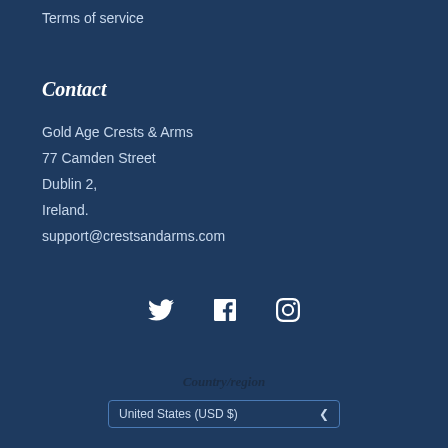Terms of service
Contact
Gold Age Crests & Arms
77 Camden Street
Dublin 2,
Ireland.
support@crestsandarms.com
[Figure (other): Social media icons: Twitter bird, Facebook F, Instagram camera]
Country/region
United States (USD $)